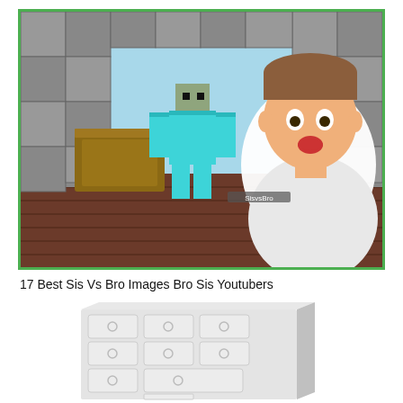[Figure (photo): YouTube thumbnail showing a Minecraft scene with a diamond-armored character near a wooden chest in a stone room, with a real excited young boy overlaid on the right side. Thick green border.]
17 Best Sis Vs Bro Images Bro Sis Youtubers
[Figure (illustration): White dresser/chest of drawers illustration with multiple drawers each having circular knob handles, rendered in light grey/white tones.]